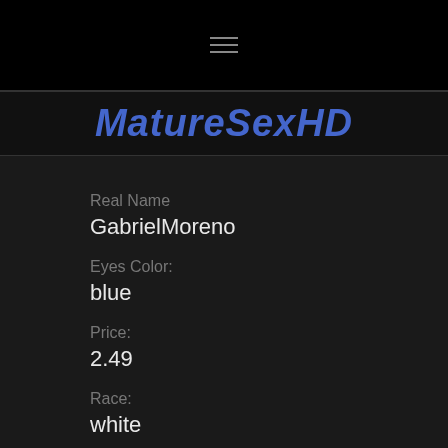≡
MatureSexHD
Real Name
GabrielMoreno
Eyes Color:
blue
Price:
2.49
Race:
white